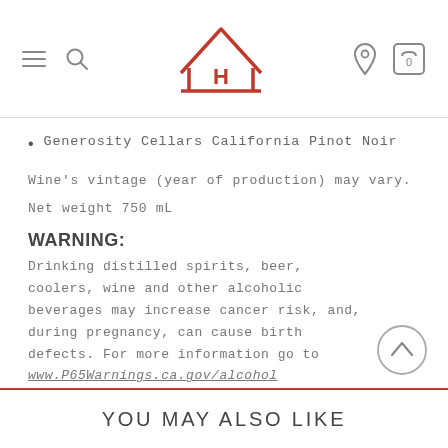[Figure (logo): H barn-shaped logo in red with hamburger menu, search icon, location pin, and cart icon (0) in website header]
Generosity Cellars California Pinot Noir
Wine's vintage (year of production) may vary.
Net weight 750 mL
WARNING:
Drinking distilled spirits, beer, coolers, wine and other alcoholic beverages may increase cancer risk, and, during pregnancy, can cause birth defects. For more information go to www.P65Warnings.ca.gov/alcohol
YOU MAY ALSO LIKE